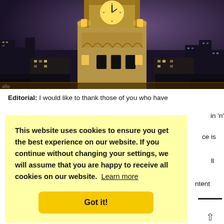[Figure (photo): Night cityscape showing an illuminated clock tower (resembling the Balmoral Hotel clock tower in Edinburgh) with stone architecture lit in orange/amber light against a dark purple-blue evening sky, with city buildings visible in the background.]
Editorial: I would like to thank those of you who have
This website uses cookies to ensure you get the best experience on our website. If you continue without changing your settings, we will assume that you are happy to receive all cookies on our website. Learn more
Got it!
In future issues it is our intention to be as inclusive as we